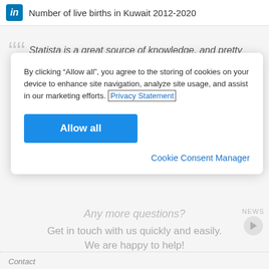Number of live births in Kuwait 2012-2020
Statista is a great source of knowledge, and pretty
By clicking “Allow all”, you agree to the storing of cookies on your device to enhance site navigation, analyze site usage, and assist in our marketing efforts. Privacy Statement
Allow all
Cookie Consent Manager
Any more questions?
Get in touch with us quickly and easily. We are happy to help!
NEWS
Contact